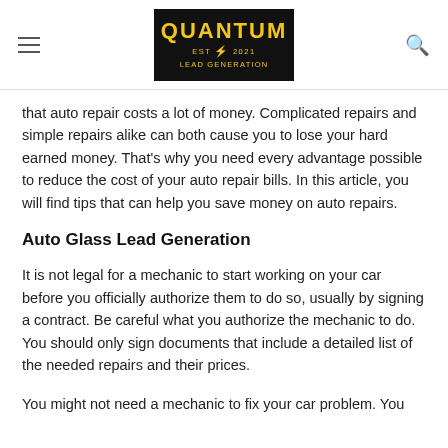QUANTUM LEAD GENERATION
that auto repair costs a lot of money. Complicated repairs and simple repairs alike can both cause you to lose your hard earned money. That's why you need every advantage possible to reduce the cost of your auto repair bills. In this article, you will find tips that can help you save money on auto repairs.
Auto Glass Lead Generation
It is not legal for a mechanic to start working on your car before you officially authorize them to do so, usually by signing a contract. Be careful what you authorize the mechanic to do. You should only sign documents that include a detailed list of the needed repairs and their prices.
You might not need a mechanic to fix your car problem. You